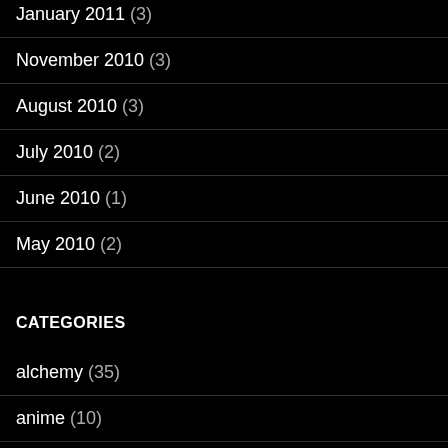January 2011 (3)
November 2010 (3)
August 2010 (3)
July 2010 (2)
June 2010 (1)
May 2010 (2)
CATEGORIES
alchemy (35)
anime (10)
architectonics (12)
Biology (9)